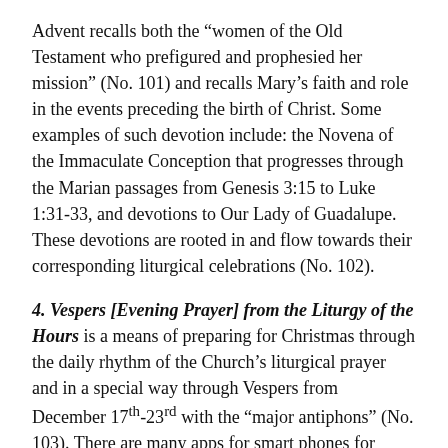Advent recalls both the “women of the Old Testament who prefigured and prophesied her mission” (No. 101) and recalls Mary’s faith and role in the events preceding the birth of Christ. Some examples of such devotion include: the Novena of the Immaculate Conception that progresses through the Marian passages from Genesis 3:15 to Luke 1:31-33, and devotions to Our Lady of Guadalupe. These devotions are rooted in and flow towards their corresponding liturgical celebrations (No. 102).
4. Vespers [Evening Prayer] from the Liturgy of the Hours is a means of preparing for Christmas through the daily rhythm of the Church’s liturgical prayer and in a special way through Vespers from December 17th-23rd with the “major antiphons” (No. 103). There are many apps for smart phones for accessing the Liturgy of the Hours easily and the clergy are already praying these liturgical prayers